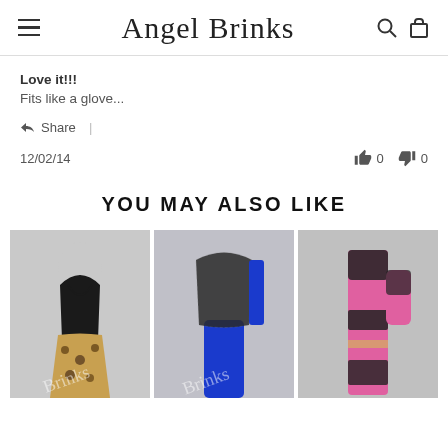Angel Brinks
Love it!!!
Fits like a glove...
Share  |
12/02/14   👍 0   👎 0
YOU MAY ALSO LIKE
[Figure (photo): Three fashion product photos: a black halter dress with leopard print skirt, a blue and lace outfit, and a pink and black outfit with mesh details.]